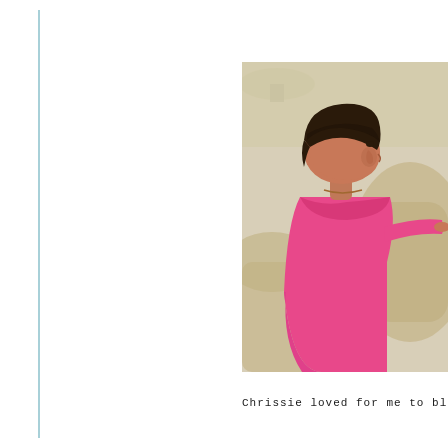[Figure (photo): A young child with short dark hair wearing a bright pink long-sleeve dress, photographed from the side/back, appearing to reach forward. The background shows a beige sofa/couch and a lamp in the upper left corner. The room has warm neutral tones.]
Chrissie loved for me to bl